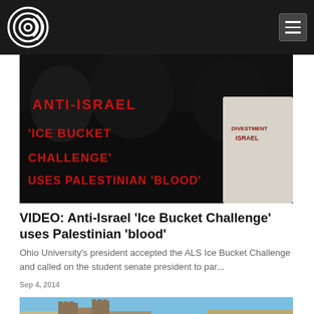[Figure (logo): Circular concentric rings logo in white on black navbar background]
[Figure (photo): Dark background image with red graffiti-style text reading ANTI-ISRAEL 'ICE BUCKET CHALLENGE' USES PALESTINIAN 'BLOOD' with a person wearing a white t-shirt visible on the right]
VIDEO: Anti-Israel ‘Ice Bucket Challenge’ uses Palestinian ‘blood’
Ohio University's president accepted the ALS Ice Bucket Challenge and called on the student senate president to par…
Sep 4, 2014
[Figure (photo): Partial view of a stone/brick castle-like building with blue sky, cropped at the bottom of the page]